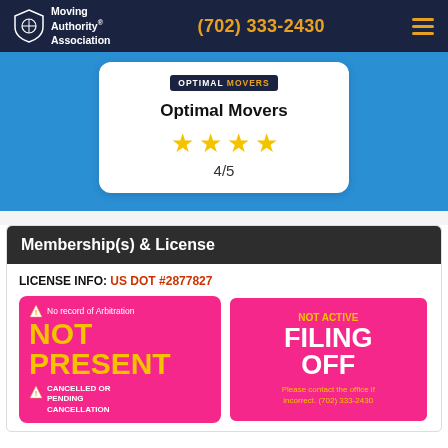Moving Authority Association | (702) 333-2430
Optimal Movers
4/5
Membership(s) & License
LICENSE INFO: US DOT #2877827
[Figure (infographic): Pink status card showing 'No record of Arbitration' with warning icon, 'NOT PRESENT' in yellow text, and warning icon with 'CANCELLED OR PENDING CANCELLATION' text]
[Figure (infographic): Pink bordered status card showing 'NOT ACTIVE' in yellow and 'FILING OFF' in white large text, with 'Please contact the office if incorrect. (702) 333-2430' in yellow]